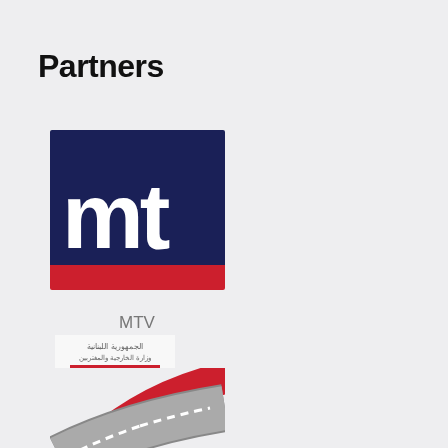Partners
[Figure (logo): MTV logo: dark navy blue background with large white letters 'mt' and red bar at bottom]
[Figure (logo): Ministry of Foreign Affairs and Emigrants logo: Lebanese cedar tree emblem with Arabic text and red bar]
MTV
Ministry of Foreign Affairs and Emigrants
[Figure (logo): Road/highway logo with curved road and red swoosh, partially visible]
[Figure (logo): Red rounded square logo with white circular 'Q' icon, partially visible]